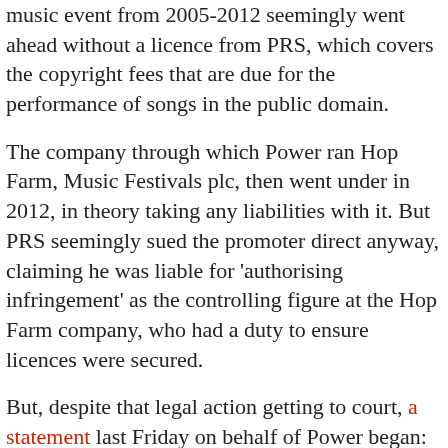music event from 2005-2012 seemingly went ahead without a licence from PRS, which covers the copyright fees that are due for the performance of songs in the public domain.
The company through which Power ran Hop Farm, Music Festivals plc, then went under in 2012, in theory taking any liabilities with it. But PRS seemingly sued the promoter direct anyway, claiming he was liable for 'authorising infringement' as the controlling figure at the Hop Farm company, who had a duty to ensure licences were secured.
But, despite that legal action getting to court, a statement last Friday on behalf of Power began: "Vince would like to state that he has not had any correspondence from PRS regarding this situation and was surprised to read about these supposed outstanding fees of £7987, this is miniscule compared to the amount of money paid to PRS over the years by